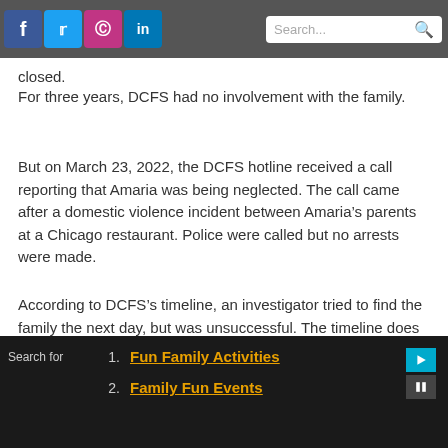Social media icons (Facebook, Twitter, Instagram, LinkedIn) and search bar
closed.
For three years, DCFS had no involvement with the family.
But on March 23, 2022, the DCFS hotline received a call reporting that Amaria was being neglected. The call came after a domestic violence incident between Amaria’s parents at a Chicago restaurant. Police were called but no arrests were made.
According to DCFS’s timeline, an investigator tried to find the family the next day, but was unsuccessful. The timeline does not show any additional attempts by that investigator to check on Amaria. For
Search for 1. Fun Family Activities 2. Family Fun Events